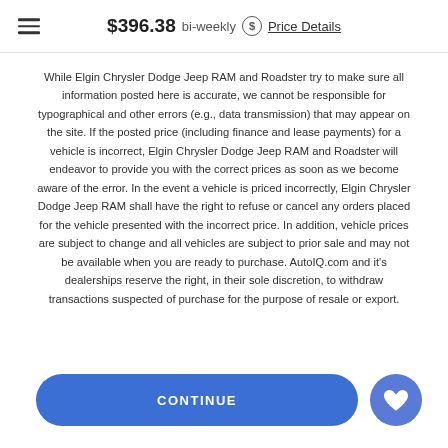$396.38 bi-weekly $ Price Details
While Elgin Chrysler Dodge Jeep RAM and Roadster try to make sure all information posted here is accurate, we cannot be responsible for typographical and other errors (e.g., data transmission) that may appear on the site. If the posted price (including finance and lease payments) for a vehicle is incorrect, Elgin Chrysler Dodge Jeep RAM and Roadster will endeavor to provide you with the correct prices as soon as we become aware of the error. In the event a vehicle is priced incorrectly, Elgin Chrysler Dodge Jeep RAM shall have the right to refuse or cancel any orders placed for the vehicle presented with the incorrect price. In addition, vehicle prices are subject to change and all vehicles are subject to prior sale and may not be available when you are ready to purchase. AutoIQ.com and it's dealerships reserve the right, in their sole discretion, to withdraw transactions suspected of purchase for the purpose of resale or export.
CONTINUE